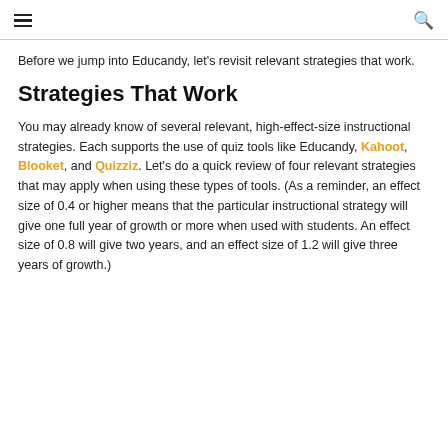≡  🔍
Before we jump into Educandy, let's revisit relevant strategies that work.
Strategies That Work
You may already know of several relevant, high-effect-size instructional strategies. Each supports the use of quiz tools like Educandy, Kahoot, Blooket, and Quizziz. Let's do a quick review of four relevant strategies that may apply when using these types of tools. (As a reminder, an effect size of 0.4 or higher means that the particular instructional strategy will give one full year of growth or more when used with students. An effect size of 0.8 will give two years, and an effect size of 1.2 will give three years of growth.)